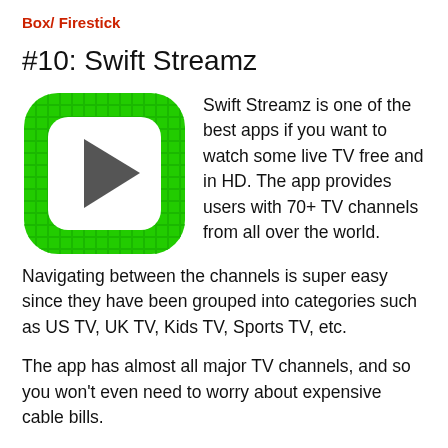Box/ Firestick
#10: Swift Streamz
[Figure (logo): Swift Streamz app logo: green rounded square with a white rounded square inside and a dark grey play button triangle in the center]
Swift Streamz is one of the best apps if you want to watch some live TV free and in HD. The app provides users with 70+ TV channels from all over the world.
Navigating between the channels is super easy since they have been grouped into categories such as US TV, UK TV, Kids TV, Sports TV, etc.
The app has almost all major TV channels, and so you won't even need to worry about expensive cable bills.